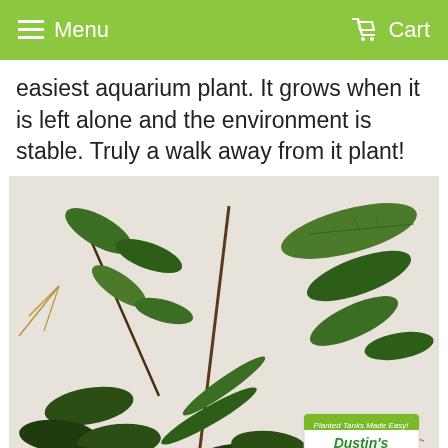Menu   Cart
easiest aquarium plant. It grows when it is left alone and the environment is stable. Truly a walk away from it plant!
[Figure (photo): Photo of several aquarium plants (likely Cryptocoryne or similar species) with dark green leaves and roots laid out on a white surface. A Dustin's Fishtanks logo/watermark is visible in the bottom right corner of the photo.]